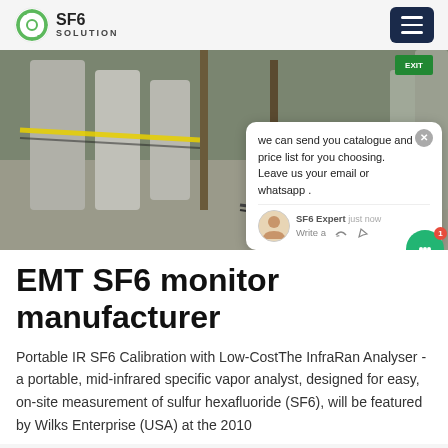SF6 SOLUTION
[Figure (photo): Two workers in blue coveralls and hard hats working on industrial SF6 equipment on a factory floor, with yellow caution tape visible.]
EMT SF6 monitor manufacturer
Portable IR SF6 Calibration with Low-CostThe InfraRan Analyser - a portable, mid-infrared specific vapor analyst, designed for easy, on-site measurement of sulfur hexafluoride (SF6), will be featured by Wilks Enterprise (USA) at the 2010